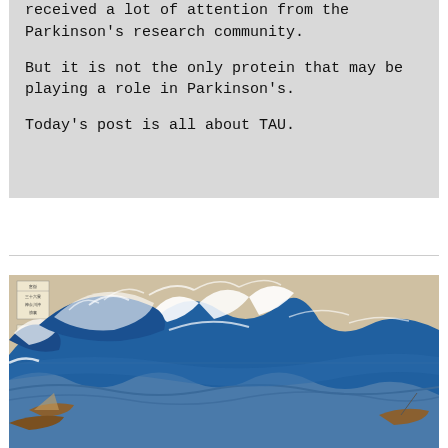received a lot of attention from the Parkinson's research community.

But it is not the only protein that may be playing a role in Parkinson's.

Today's post is all about TAU.
[Figure (illustration): The Great Wave off Kanagawa - Hokusai woodblock print showing a large ocean wave with Mount Fuji in the background and small boats in the foreground]